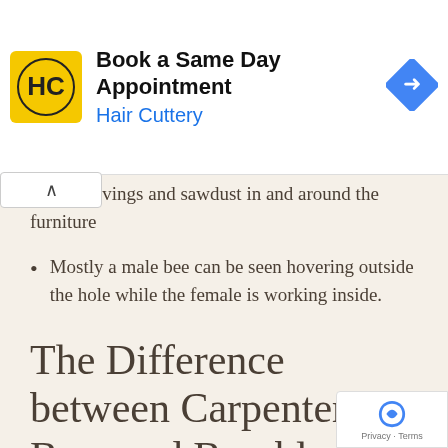[Figure (screenshot): Hair Cuttery advertisement banner with logo and 'Book a Same Day Appointment' text]
wood shavings and sawdust in and around the furniture
Mostly a male bee can be seen hovering outside the hole while the female is working inside.
The Difference between Carpenter Bees and Bumble Bees
The buzz of bees around springtime though pleasant to the ears can also bring bad news for